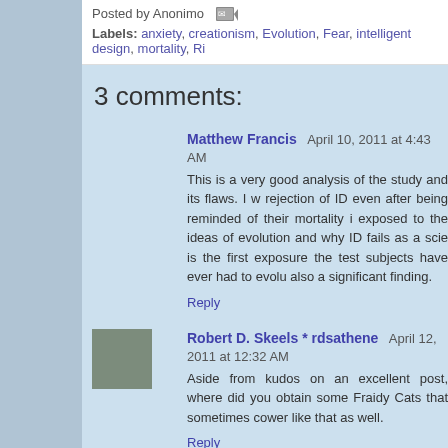Posted by Anonimo
Labels: anxiety, creationism, Evolution, Fear, intelligent design, mortality, Ri...
3 comments:
Matthew Francis  April 10, 2011 at 4:43 AM
This is a very good analysis of the study and its flaws. I w... rejection of ID even after being reminded of their mortality i... exposed to the ideas of evolution and why ID fails as a scie... is the first exposure the test subjects have ever had to evolu... also a significant finding.
Reply
Robert D. Skeels * rdsathene  April 12, 2011 at 12:32 AM
Aside from kudos on an excellent post, where did you obtain... some Fraidy Cats that sometimes cower like that as well.
Reply
Anonimo  April 12, 2011 at 7:07 AM